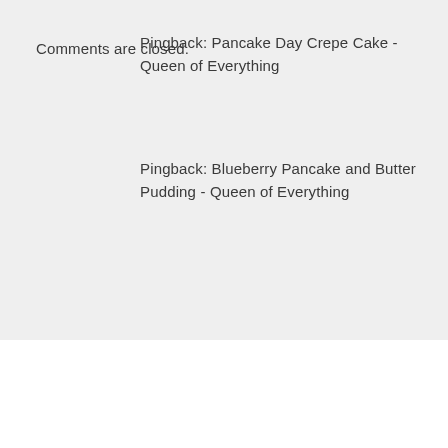Pingback: Pancake Day Crepe Cake - Queen of Everything
Pingback: Blueberry Pancake and Butter Pudding - Queen of Everything
Comments are closed.